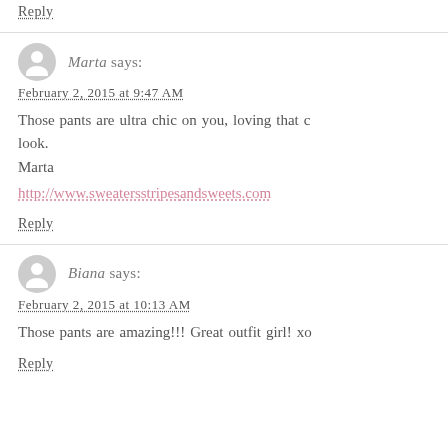Reply
Marta says:
February 2, 2015 at 9:47 AM
Those pants are ultra chic on you, loving that look.
Marta
http://www.sweatersstripes andsweets.com
Reply
Biana says:
February 2, 2015 at 10:13 AM
Those pants are amazing!!! Great outfit girl! xo
Reply